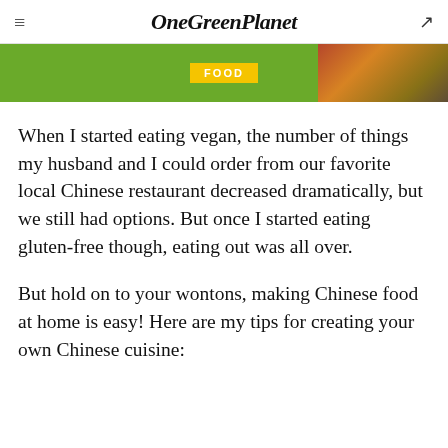OneGreenPlanet
[Figure (other): Green banner with FOOD badge label and food imagery on the right]
When I started eating vegan, the number of things my husband and I could order from our favorite local Chinese restaurant decreased dramatically, but we still had options. But once I started eating gluten-free though, eating out was all over.
But hold on to your wontons, making Chinese food at home is easy! Here are my tips for creating your own Chinese cuisine: